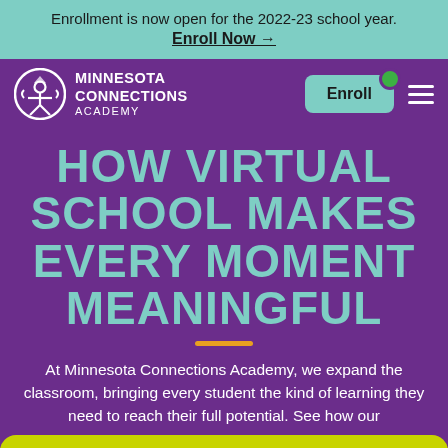Enrollment is now open for the 2022-23 school year. Enroll Now →
[Figure (logo): Minnesota Connections Academy logo with circular icon and white text on purple background]
HOW VIRTUAL SCHOOL MAKES EVERY MOMENT MEANINGFUL
At Minnesota Connections Academy, we expand the classroom, bringing every student the kind of learning they need to reach their full potential. See how our teachers work.
Request More Info